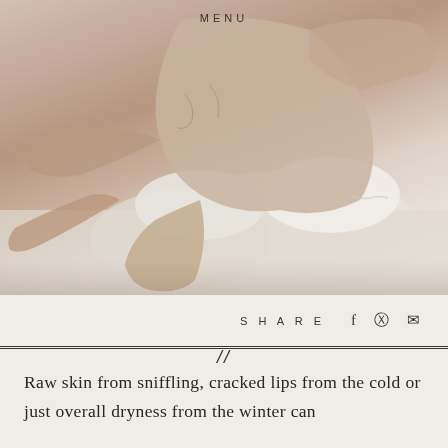[Figure (photo): A person in light-colored clothing sitting/stretching on a white bed, warm muted tones, with MENU label overlaid at top center]
SHARE  f  ⊕  ✉
//
Raw skin from sniffling, cracked lips from the cold or just overall dryness from the winter can